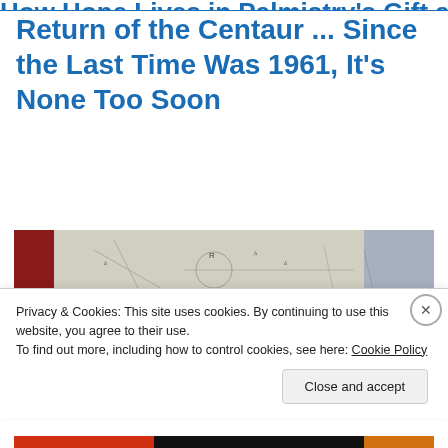How Hope Lives in Palmistry's Gift and...
Return of the Centaur ... Since the Last Time Was 1961, It's None Too Soon
[Figure (photo): Partial view of a hand-drawn sketch or diagram with handwritten notes, with red, gray, and blue tones visible]
Privacy & Cookies: This site uses cookies. By continuing to use this website, you agree to their use.
To find out more, including how to control cookies, see here: Cookie Policy
Close and accept